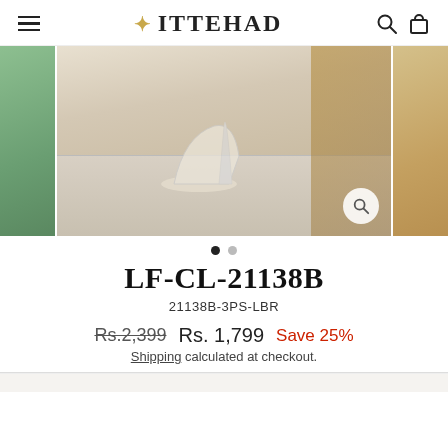ITTEHAD
[Figure (photo): Product photo showing cream/beige high heel shoes on marble steps with a woman in a patterned dress, with smaller thumbnail images on the sides.]
LF-CL-21138B
21138B-3PS-LBR
Rs.2,399  Rs. 1,799  Save 25%
Shipping calculated at checkout.